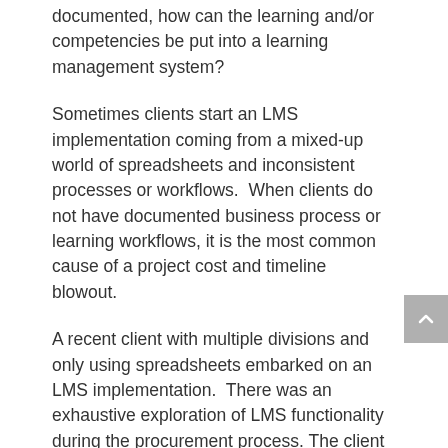documented, how can the learning and/or competencies be put into a learning management system?
Sometimes clients start an LMS implementation coming from a mixed-up world of spreadsheets and inconsistent processes or workflows.  When clients do not have documented business process or learning workflows, it is the most common cause of a project cost and timeline blowout.
A recent client with multiple divisions and only using spreadsheets embarked on an LMS implementation.  There was an exhaustive exploration of LMS functionality during the procurement process. The client team had a general idea of their internal business processes and learning workflows without much documentation.  After a significant amount of time trying to map previously stated requirements from the procurement process, it became clear that documenting specific business processes and learning workflows in a detailed manner was required.